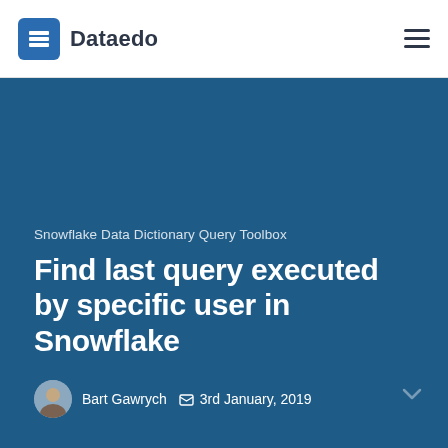Dataedo
Snowflake Data Dictionary Query Toolbox
Find last query executed by specific user in Snowflake
Bart Gawrych   3rd January, 2019